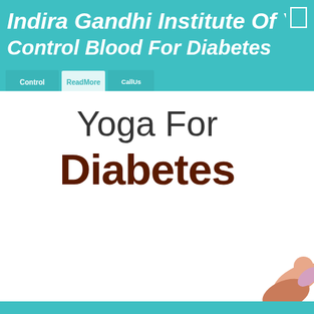Indira Gandhi Institute Of Yoga Control Blood For Diabetes
[Figure (screenshot): Webpage screenshot showing 'Yoga For Diabetes' promotional image with teal header bar, title text in italic cursive white font reading 'Indira Gandhi Institute Of Yog...' partially visible, UI overlay badges, and large bold text 'Yoga For Diabetes' on white background with a partial silhouette of a person doing yoga in the bottom right corner.]
Yoga For Diabetes